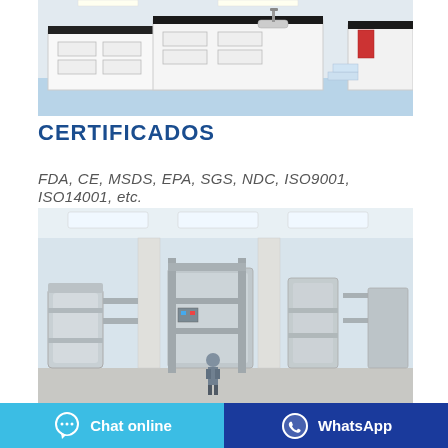[Figure (photo): Laboratory interior with white bench cabinetry, black countertops, and blue flooring]
CERTIFICADOS
FDA, CE, MSDS, EPA, SGS, NDC, ISO9001, ISO14001, etc.
[Figure (photo): Industrial manufacturing or processing facility with large stainless steel equipment, pipes, and a worker visible]
Chat online
WhatsApp